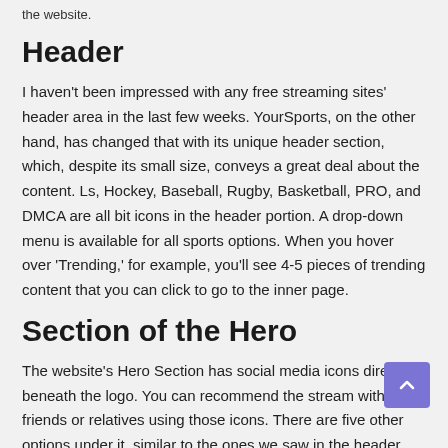the website.
Header
I haven't been impressed with any free streaming sites' header area in the last few weeks. YourSports, on the other hand, has changed that with its unique header section, which, despite its small size, conveys a great deal about the content. Ls, Hockey, Baseball, Rugby, Basketball, PRO, and DMCA are all bit icons in the header portion. A drop-down menu is available for all sports options. When you hover over 'Trending,' for example, you'll see 4-5 pieces of trending content that you can click to go to the inner page.
Section of the Hero
The website's Hero Section has social media icons directly beneath the logo. You can recommend the stream with your friends or relatives using those icons. There are five other options under it, similar to the ones we saw in the header area. Today's Trending